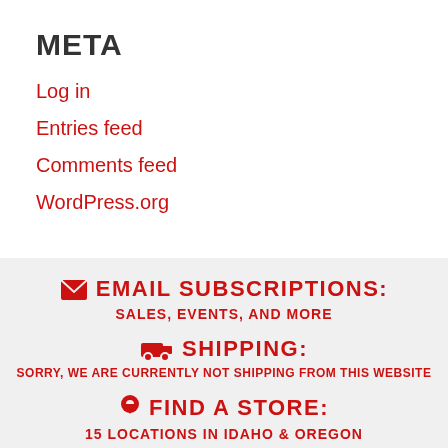META
Log in
Entries feed
Comments feed
WordPress.org
EMAIL SUBSCRIPTIONS:
SALES, EVENTS, AND MORE
SHIPPING:
SORRY, WE ARE CURRENTLY NOT SHIPPING FROM THIS WEBSITE
FIND A STORE:
15 LOCATIONS IN IDAHO & OREGON